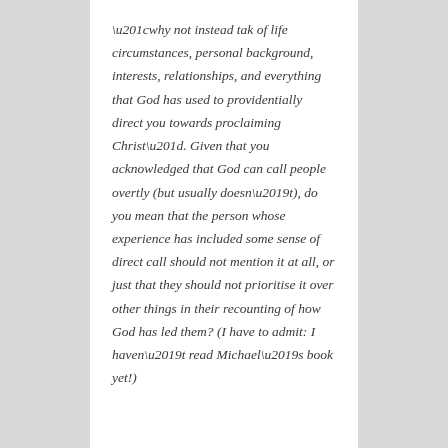“why not instead tak of life circumstances, personal background, interests, relationships, and everything that God has used to providentially direct you towards proclaiming Christ”. Given that you acknowledged that God can call people overtly (but usually doesn’t), do you mean that the person whose experience has included some sense of direct call should not mention it at all, or just that they should not prioritise it over other things in their recounting of how God has led them? (I have to admit: I haven’t read Michael’s book yet!)